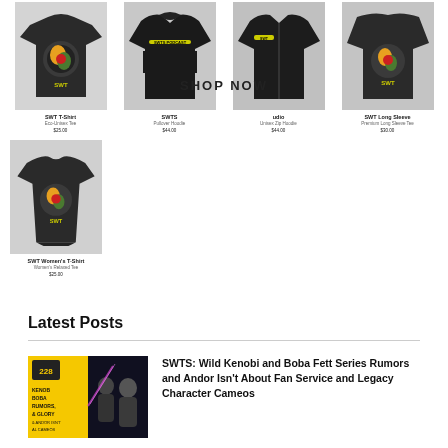SHOP NOW
[Figure (photo): SWT T-Shirt - black tee with colorful graphic print]
SWT T-Shirt
Eco-Unisex Tee
$25.00
[Figure (photo): SWTS hoodie - black pullover hoodie with yellow text]
SWTS
Pullover Hoodie
$44.00
[Figure (photo): SWT zip-up hoodie - black zip hoodie with yellow logo]
udio
Unisex Zip Hoodie
$44.00
[Figure (photo): SWT Long Sleeve shirt - dark long sleeve with graphic]
SWT Long Sleeve
Premium Long Sleeve Tee
$30.00
[Figure (photo): SWT Women's T-Shirt - black women's tee with colorful graphic]
SWT Women's T-Shirt
Women's Relaxed Tee
$25.00
Latest Posts
[Figure (photo): Thumbnail for SWTS podcast episode - yellow background with text overlay]
SWTS: Wild Kenobi and Boba Fett Series Rumors and Andor Isn't About Fan Service and Legacy Character Cameos